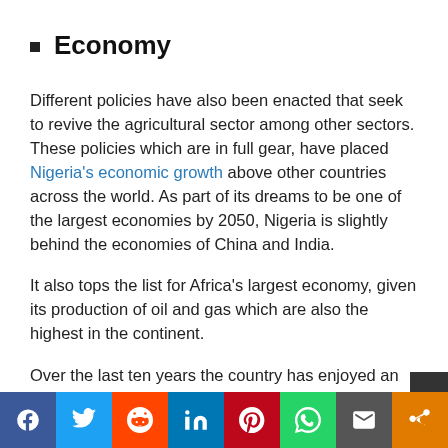Economy
Different policies have also been enacted that seek to revive the agricultural sector among other sectors. These policies which are in full gear, have placed Nigeria's economic growth above other countries across the world. As part of its dreams to be one of the largest economies by 2050, Nigeria is slightly behind the economies of China and India.
It also tops the list for Africa's largest economy, given its production of oil and gas which are also the highest in the continent.
Over the last ten years the country has enjoyed an